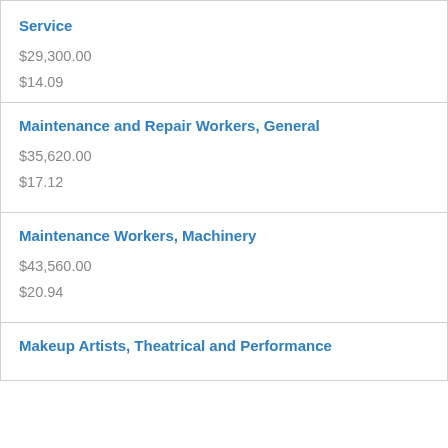| Service | $29,300.00 | $14.09 |
| Maintenance and Repair Workers, General | $35,620.00 | $17.12 |
| Maintenance Workers, Machinery | $43,560.00 | $20.94 |
| Makeup Artists, Theatrical and Performance |  |  |